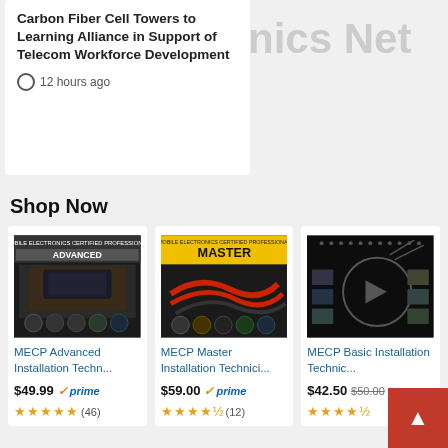Carbon Fiber Cell Towers to Learning Alliance in Support of Telecom Workforce Development
12 hours ago
Shop Now
[Figure (photo): Book cover: MECP Advanced Installation Technician study guide]
MECP Advanced Installation Techn...
$49.99 prime (46 reviews, 5 stars)
[Figure (photo): Book cover: MECP Master Installation Technician study guide with yellow banner]
MECP Master Installation Technici...
$59.00 prime (12 reviews, 4.5 stars)
[Figure (photo): Book cover: MECP Basic Installation Technician study guide, dark background with circular graphic]
MECP Basic Installation Technic...
$42.50 $50.00 (4.5 stars)